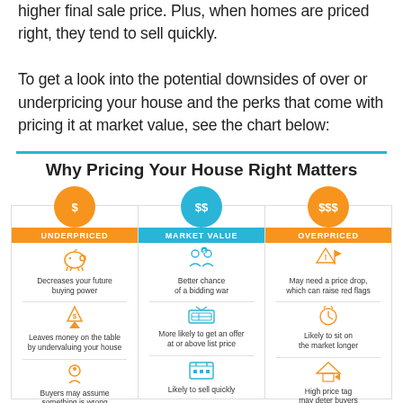higher final sale price. Plus, when homes are priced right, they tend to sell quickly.

To get a look into the potential downsides of over or underpricing your house and the perks that come with pricing it at market value, see the chart below:
Why Pricing Your House Right Matters
[Figure (infographic): Three-column infographic comparing Underpriced ($), Market Value ($$), and Overpriced ($$$) home pricing. Underpriced: Decreases your future buying power; Leaves money on the table by undervaluing your house; Buyers may assume something is wrong. Market Value: Better chance of a bidding war; More likely to get an offer at or above list price; Likely to sell quickly. Overpriced: May need a price drop, which can raise red flags; Likely to sit on the market longer; High price tag may deter buyers.]